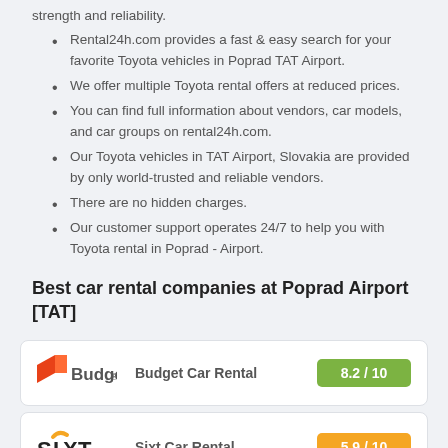strength and reliability.
Rental24h.com provides a fast & easy search for your favorite Toyota vehicles in Poprad TAT Airport.
We offer multiple Toyota rental offers at reduced prices.
You can find full information about vendors, car models, and car groups on rental24h.com.
Our Toyota vehicles in TAT Airport, Slovakia are provided by only world-trusted and reliable vendors.
There are no hidden charges.
Our customer support operates 24/7 to help you with Toyota rental in Poprad - Airport.
Best car rental companies at Poprad Airport [TAT]
| Logo | Company | Rating |
| --- | --- | --- |
| Budget | Budget Car Rental | 8.2 / 10 |
| Sixt | Sixt Car Rental | 5.9 / 10 |